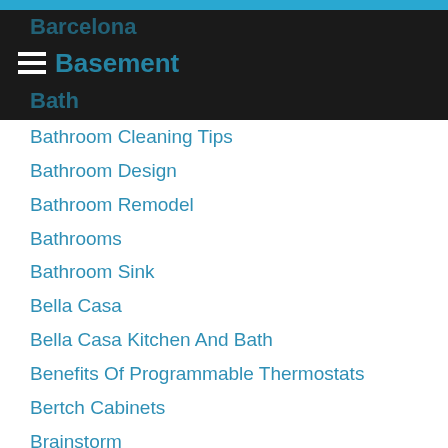Barcelona
Basement
Bath
Bathroom Cleaning Tips
Bathroom Design
Bathroom Remodel
Bathrooms
Bathroom Sink
Bella Casa
Bella Casa Kitchen And Bath
Benefits Of Programmable Thermostats
Bertch Cabinets
Brainstorm
Buffalo Bills
Buffalo Sabres
Carbon Monoxide
Carrier
Cassadaga Heating
Cassadaga NY